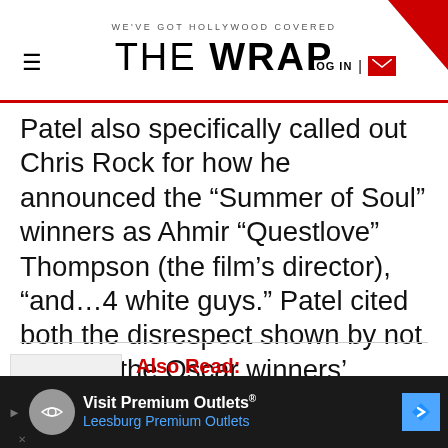WE'VE GOT HOLLYWOOD COVERED — THE WRAP
Patel also specifically called out Chris Rock for how he announced the “Summer of Soul” winners as Ahmir “Questlove” Thompson (the film’s director), “and…4 white guys.” Patel cited both the disrespect shown by not reading the Oscar winners’ names, as well as the fact that he, himself is of South Asian descent. He also noted that the film had 3 producers, not 4.
[Figure (photo): Thumbnail image for Chris Rock article]
Also Read: Chris Rock Says He’s ‘Processing’
[Figure (other): Visit Premium Outlets advertisement banner — Leesburg Premium Outlets]